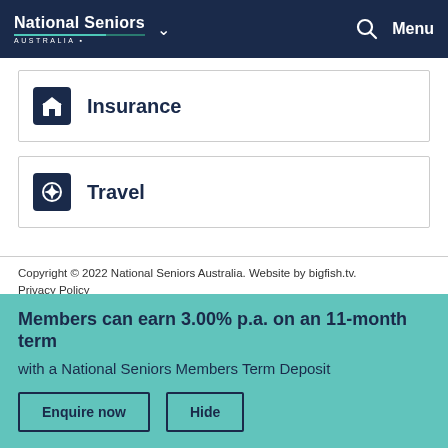National Seniors Australia — Menu
Insurance
Travel
Copyright © 2022 National Seniors Australia. Website by bigfish.tv. Privacy Policy
Members can earn 3.00% p.a. on an 11-month term with a National Seniors Members Term Deposit
Enquire now   Hide